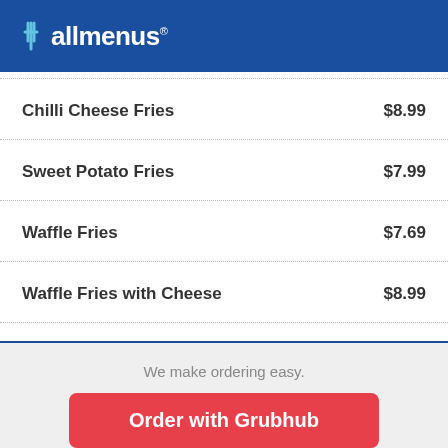allmenus
Chilli Cheese Fries  $8.99
Sweet Potato Fries  $7.99
Waffle Fries  $7.69
Waffle Fries with Cheese  $8.99
We make ordering easy.
Order with Grubhub